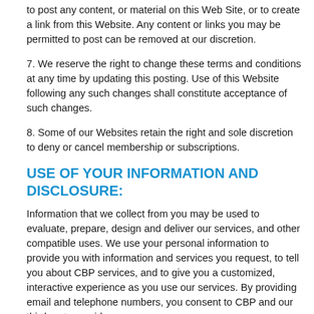to post any content, or material on this Web Site, or to create a link from this Website. Any content or links you may be permitted to post can be removed at our discretion.
7. We reserve the right to change these terms and conditions at any time by updating this posting. Use of this Website following any such changes shall constitute acceptance of such changes.
8. Some of our Websites retain the right and sole discretion to deny or cancel membership or subscriptions.
USE OF YOUR INFORMATION AND DISCLOSURE:
Information that we collect from you may be used to evaluate, prepare, design and deliver our services, and other compatible uses. We use your personal information to provide you with information and services you request, to tell you about CBP services, and to give you a customized, interactive experience as you use our services. By providing email and telephone numbers, you consent to CBP and our third party providers